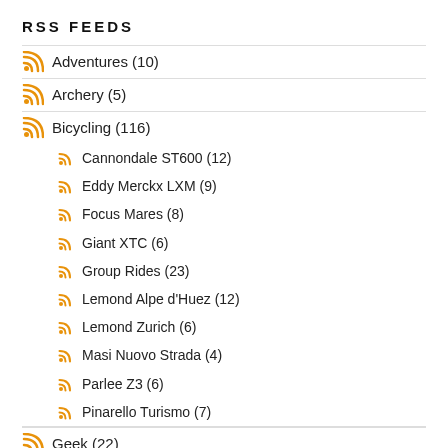RSS FEEDS
Adventures (10)
Archery (5)
Bicycling (116)
Cannondale ST600 (12)
Eddy Merckx LXM (9)
Focus Mares (8)
Giant XTC (6)
Group Rides (23)
Lemond Alpe d'Huez (12)
Lemond Zurich (6)
Masi Nuovo Strada (4)
Parlee Z3 (6)
Pinarello Turismo (7)
Geek (22)
Connectivity (1)
Raspberry Pi (12)
Video Security (9)